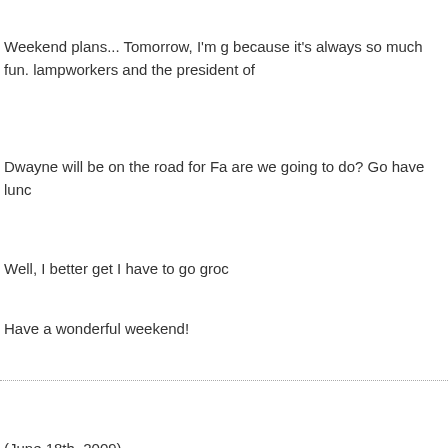Weekend plans... Tomorrow, I'm g because it's always so much fun. lampworkers and the president of
Dwayne will be on the road for Fa are we going to do? Go have lunc
Well, I better get I have to go groc
Have a wonderful weekend!
(June 18th, 2009)
Hi! We had such a busy day yeste in their house. It was fun, but a lot early enough to make beads and b golfing this morning to give me tim
Have a lovely day!
(June 16th, 2009)